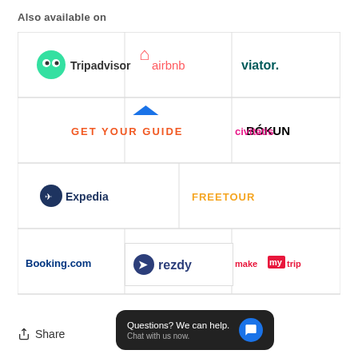Also available on
[Figure (logo): Grid of travel platform logos: Tripadvisor, airbnb, viator, GET YOUR GUIDE, BÓKUN, civitatis, Expedia, FREETOUR, Booking.com, tourradar, makemytrip, rezdy]
Share
[Figure (screenshot): Chat popup: Questions? We can help. Chat with us now.]